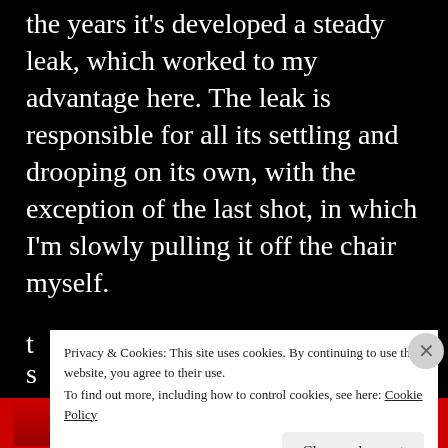the years it's developed a steady leak, which worked to my advantage here. The leak is responsible for all its settling and drooping on its own, with the exception of the last shot, in which I'm slowly pulling it off the chair myself.
The sound is a result of three concurrent tracks. One is the sound of air escaping out the blow hole in the back. I took a snippet of it and looped it throughout. The second is just the sound of me t... s...
Privacy & Cookies: This site uses cookies. By continuing to use this website, you agree to their use.
To find out more, including how to control cookies, see here: Cookie Policy
Close and accept
[Figure (photo): Red image strip at bottom of page, partially visible, with a dark circular element visible.]